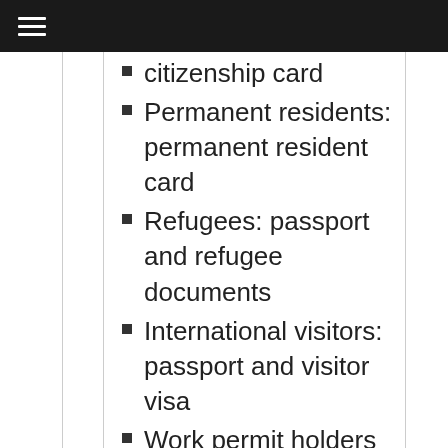citizenship card
Permanent residents: permanent resident card
Refugees: passport and refugee documents
International visitors: passport and visitor visa
Work permit holders are not qualified for High School Completion courses